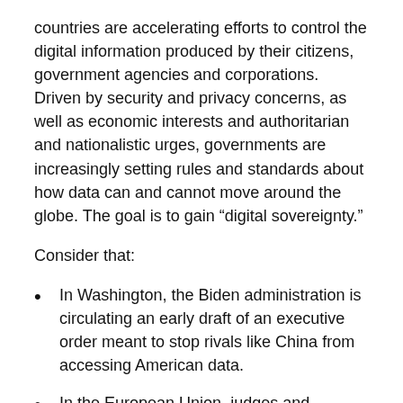countries are accelerating efforts to control the digital information produced by their citizens, government agencies and corporations. Driven by security and privacy concerns, as well as economic interests and authoritarian and nationalistic urges, governments are increasingly setting rules and standards about how data can and cannot move around the globe. The goal is to gain “digital sovereignty.”
Consider that:
In Washington, the Biden administration is circulating an early draft of an executive order meant to stop rivals like China from accessing American data.
In the European Union, judges and policymakers are pushing efforts to guard information generated within the 27 nation bloc, including tougher online